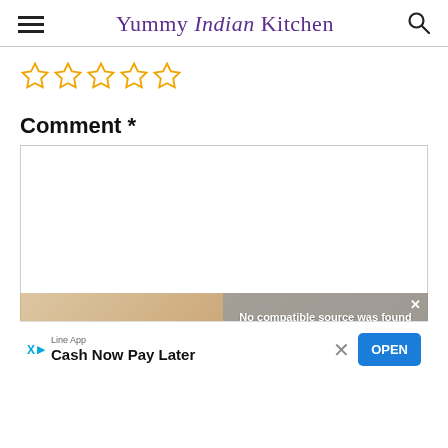Yummy Indian Kitchen
[Figure (other): Five empty star rating icons in orange/gold color]
Comment *
[Figure (screenshot): Comment text area input box (empty), with video overlay saying 'No compatible source was found for this media.' and an advertisement at the bottom: Line App - Cash Now Pay Later with OPEN button]